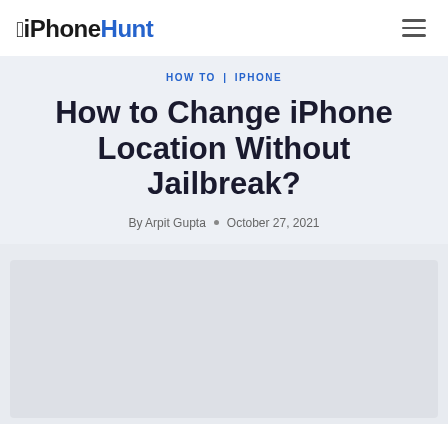iPhoneHunt
HOW TO | IPHONE
How to Change iPhone Location Without Jailbreak?
By Arpit Gupta • October 27, 2021
[Figure (other): Advertisement or image placeholder box]